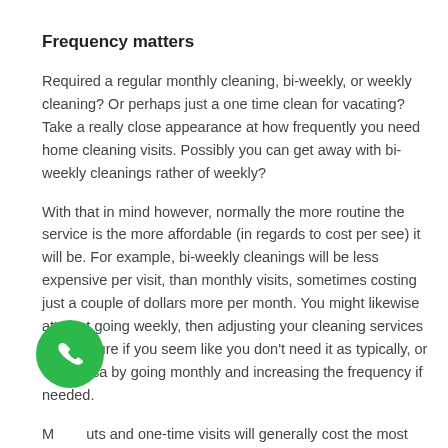Frequency matters
Required a regular monthly cleaning, bi-weekly, or weekly cleaning? Or perhaps just a one time clean for vacating? Take a really close appearance at how frequently you need home cleaning visits. Possibly you can get away with bi-weekly cleanings rather of weekly?
With that in mind however, normally the more routine the service is the more affordable (in regards to cost per see) it will be. For example, bi-weekly cleanings will be less expensive per visit, than monthly visits, sometimes costing just a couple of dollars more per month. You might likewise attempt going weekly, then adjusting your cleaning services in the future if you seem like you don't need it as typically, or vice versa by going monthly and increasing the frequency if needed.
Move outs and one-time visits will generally cost the most per go to because of how extensive the cleaning is and due to the fact